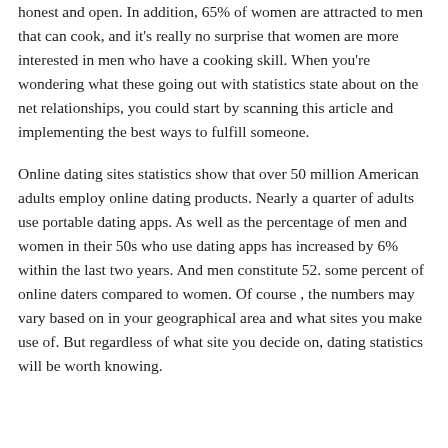honest and open. In addition, 65% of women are attracted to men that can cook, and it's really no surprise that women are more interested in men who have a cooking skill. When you're wondering what these going out with statistics state about on the net relationships, you could start by scanning this article and implementing the best ways to fulfill someone.
Online dating sites statistics show that over 50 million American adults employ online dating products. Nearly a quarter of adults use portable dating apps. As well as the percentage of men and women in their 50s who use dating apps has increased by 6% within the last two years. And men constitute 52. some percent of online daters compared to women. Of course , the numbers may vary based on in your geographical area and what sites you make use of. But regardless of what site you decide on, dating statistics will be worth knowing.